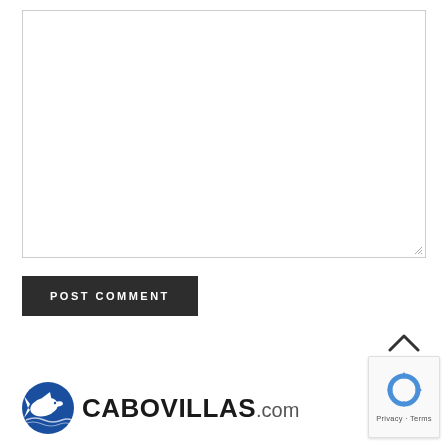[Figure (screenshot): Empty comment text area with resize handle in bottom-right corner, bordered box]
[Figure (screenshot): POST COMMENT button - dark charcoal background with white uppercase bold text]
[Figure (logo): CaboVillas.com logo with blue dolphin/fish icon on left and CABOVILLAS.com text on right]
[Figure (screenshot): reCAPTCHA privacy badge in bottom-right corner showing recycling arrows icon and Privacy · Terms text]